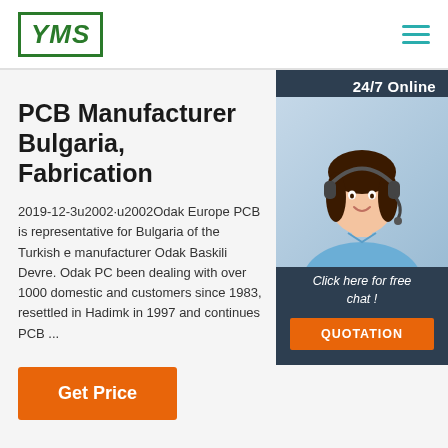[Figure (logo): YMS logo in green bordered box with italic bold text]
[Figure (illustration): Hamburger menu icon with three horizontal teal lines]
[Figure (photo): 24/7 Online support sidebar with woman wearing headset, click here for free chat text, and QUOTATION orange button]
PCB Manufacturer Bulgaria, Fabrication
2019-12-3u2002·u2002Odak Europe PCB is representative for Bulgaria of the Turkish e manufacturer Odak Baskili Devre. Odak PC been dealing with over 1000 domestic and customers since 1983, resettled in Hadimk in 1997 and continues PCB ...
Get Price